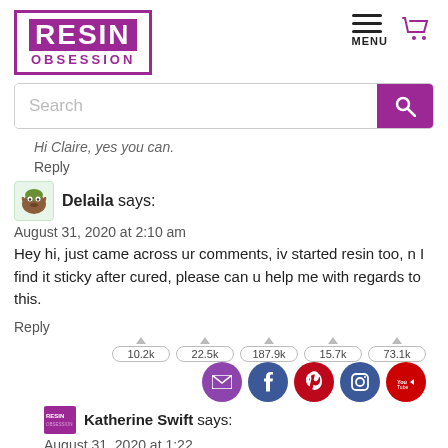[Figure (logo): Resin Obsession logo with purple border, white RESIN text on purple background, purple OBSESSION text below]
[Figure (other): Hamburger menu icon with MENU label and purple shopping cart icon]
[Figure (other): Search bar with placeholder text Search and purple search button]
Hi Claire, yes you can.
Reply
Delaila says:
August 31, 2020 at 2:10 am
Hey hi, just came across ur comments, iv started resin too, n I find it sticky after cured, please can u help me with regards to this.
Reply
[Figure (infographic): Social sharing icons row: email (purple), facebook (dark blue), pinterest (red), instagram (blue), youtube (red) with follower counts 10.2k, 22.5k, 187.9k, 15.7k, 73.1k]
Katherine Swift says:
August 31, 2020 at 1:22
Hi Delaila, I'm sorry you are having problems with